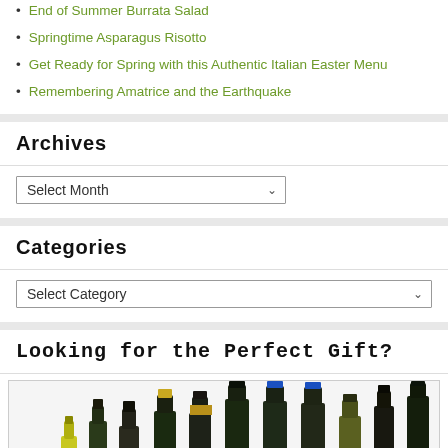End of Summer Burrata Salad
Springtime Asparagus Risotto
Get Ready for Spring with this Authentic Italian Easter Menu
Remembering Amatrice and the Earthquake
Archives
Select Month (dropdown)
Categories
Select Category (dropdown)
Looking for the Perfect Gift?
[Figure (photo): Row of various olive oil bottles with different colored caps and labels, photographed on a white background]